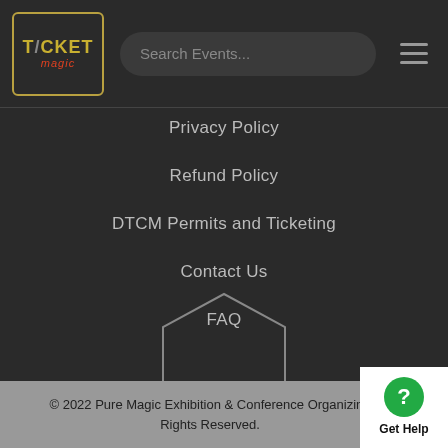[Figure (logo): Ticket Magic logo with gold border]
Search Events...
Privacy Policy
Refund Policy
DTCM Permits and Ticketing
Contact Us
FAQ
© 2022 Pure Magic Exhibition & Conference Organizing Rights Reserved.
Get Help